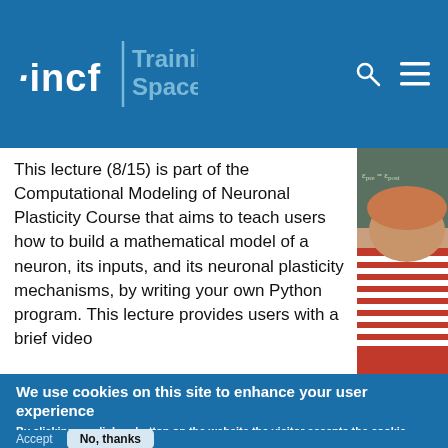[Figure (logo): INCF Training Space website header with logo and navigation icons on blue background]
This lecture (8/15) is part of the Computational Modeling of Neuronal Plasticity Course that aims to teach users how to build a mathematical model of a neuron, its inputs, and its neuronal plasticity mechanisms, by writing your own Python program. This lecture provides users with a brief video
[Figure (photo): Photo of a student near a chalkboard with equations]
We use cookies on this site to enhance your user experience
By clicking any link or button on the website the visitor accepts the cookie policy. More info
Accept
No, thanks